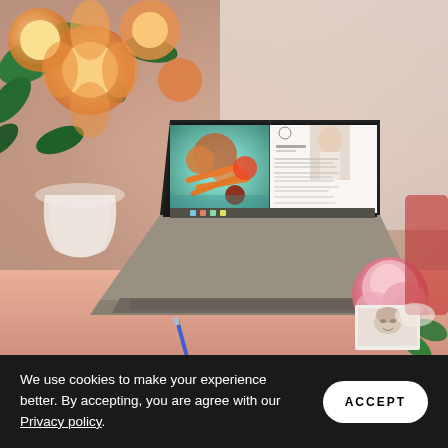[Figure (photo): A photograph showing a MacBook laptop open on a pink/salmon colored surface. The laptop screen shows a food/health website with a split view: left side shows a colorful food photo with fruits, vegetables and bowls; right side shows a webpage with a woman's portrait, a circular logo, and text content. In the background there is a vase with orange and green artificial flowers. On the right side of the laptop there is a large pink peony flower and a small photograph/card. A blue pen is visible on the left side. The scene has warm, lifestyle aesthetic tones.]
We use cookies to make your experience better. By accepting, you are agree with our Privacy policy.
ACCEPT